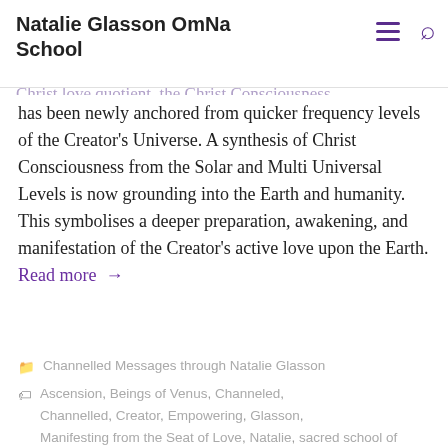Natalie Glasson OmNa School
Jesus, was being drawn from a synthesis of the Planetary and Universal Levels of the Creator's Universe. Now due to the increase of the Christ love quotient, the Christ Consciousness has been newly anchored from quicker frequency levels of the Creator's Universe. A synthesis of Christ Consciousness from the Solar and Multi Universal Levels is now grounding into the Earth and humanity. This symbolises a deeper preparation, awakening, and manifestation of the Creator's active love upon the Earth. Read more →
Channelled Messages through Natalie Glasson
Ascension, Beings of Venus, Channeled, Channelled, Creator, Empowering, Glasson, Manifesting from the Seat of Love, Natalie, sacred school of OmNa